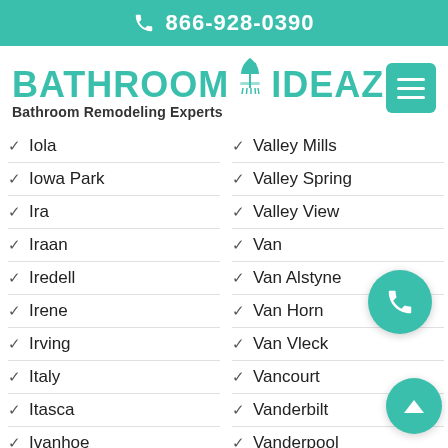866-928-0390
BATHROOM IDEAZ - Bathroom Remodeling Experts
Iola
Iowa Park
Ira
Iraan
Iredell
Irene
Irving
Italy
Itasca
Ivanhoe
Jacksboro
Valley Mills
Valley Spring
Valley View
Van
Van Alstyne
Van Horn
Van Vleck
Vancourt
Vanderbilt
Vanderpool
Vega